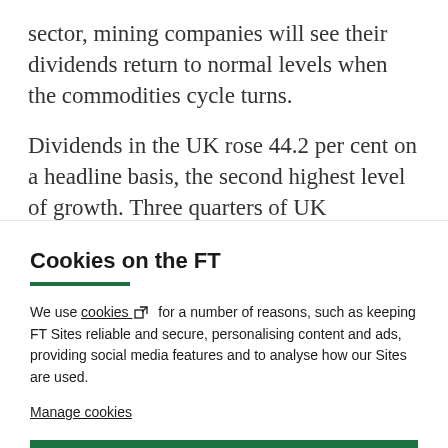sector, mining companies will see their dividends return to normal levels when the commodities cycle turns.
Dividends in the UK rose 44.2 per cent on a headline basis, the second highest level of growth. Three quarters of UK companies in the index either held their payouts at
Cookies on the FT
We use cookies ⧉  for a number of reasons, such as keeping FT Sites reliable and secure, personalising content and ads, providing social media features and to analyse how our Sites are used.
Manage cookies
Accept & continue